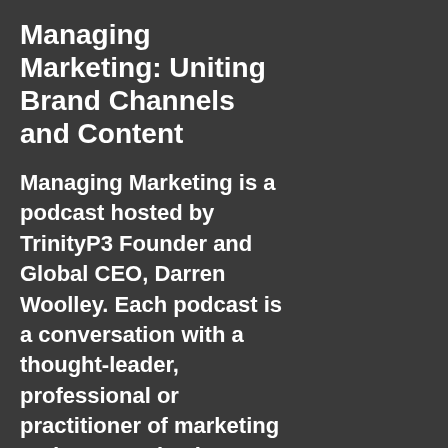Managing Marketing: Uniting Brand Channels and Content
Managing Marketing is a podcast hosted by TrinityP3 Founder and Global CEO, Darren Woolley. Each podcast is a conversation with a thought-leader, professional or practitioner of marketing and communications on the issues, insights and opportunities in the marketing management category. Ideal for